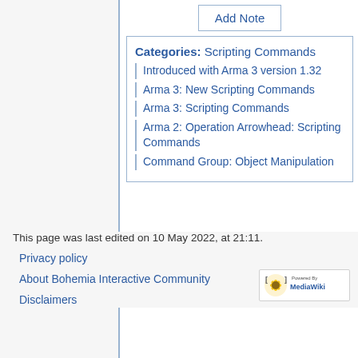Add Note
Categories:  Scripting Commands
Introduced with Arma 3 version 1.32
Arma 3: New Scripting Commands
Arma 3: Scripting Commands
Arma 2: Operation Arrowhead: Scripting Commands
Command Group: Object Manipulation
This page was last edited on 10 May 2022, at 21:11.
Privacy policy
About Bohemia Interactive Community
Disclaimers